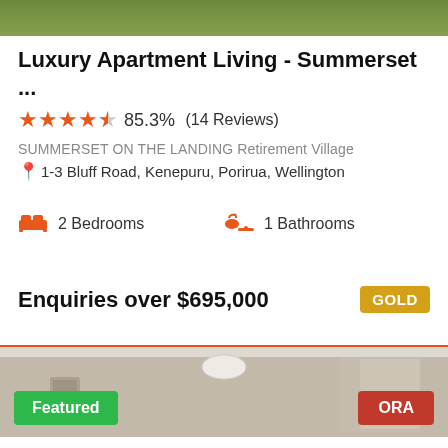[Figure (photo): Green outdoor photo strip at top of page]
Luxury Apartment Living - Summerset ...
★★★★½ 85.3%  (14 Reviews)
SUMMERSET ON THE LANDING Retirement Village
1-3 Bluff Road, Kenepuru, Porirua, Wellington
2 Bedrooms   1 Bathrooms
Enquiries over $695,000
GOLD
[Figure (photo): Interior room photo of apartment with ceiling light, window with curtains, framed picture on wall. Featured badge (green) bottom left, ORA badge (red) bottom right.]